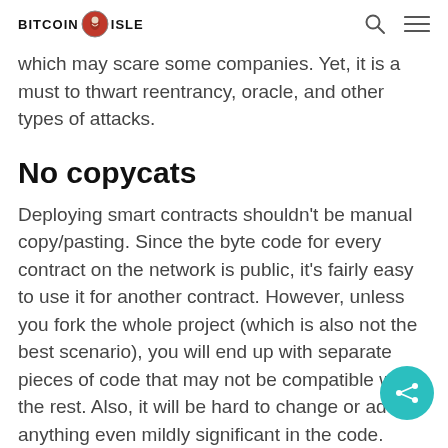BITCOIN ISLE
which may scare some companies. Yet, it is a must to thwart reentrancy, oracle, and other types of attacks.
No copycats
Deploying smart contracts shouldn't be manual copy/pasting. Since the byte code for every contract on the network is public, it's fairly easy to use it for another contract. However, unless you fork the whole project (which is also not the best scenario), you will end up with separate pieces of code that may not be compatible with the rest. Also, it will be hard to change or add anything even mildly significant in the code. Therefore, copy and paste is extremely